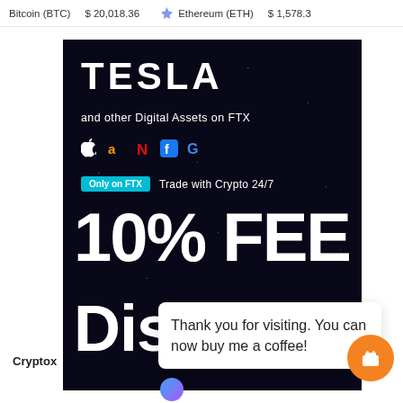Bitcoin (BTC) $ 20,018.36 ◆ Ethereum (ETH) $ 1,578.3
[Figure (screenshot): FTX advertisement banner on dark starry background showing Tesla logo, company logos (Apple, Amazon, Netflix, Facebook, Google), 'Only on FTX' badge with 'Trade with Crypto 24/7', and large white text '10% FEE Discount']
Thank you for visiting. You can now buy me a coffee!
Cryptox